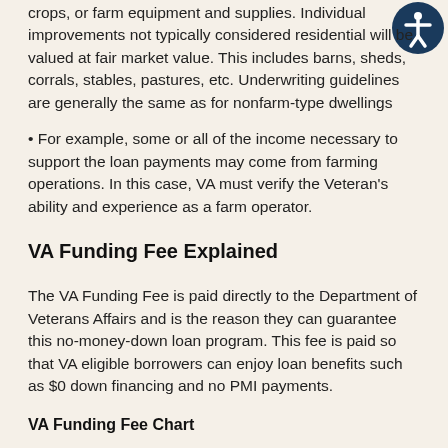crops, or farm equipment and supplies. Individual improvements not typically considered residential will be valued at fair market value. This includes barns, sheds, corrals, stables, pastures, etc. Underwriting guidelines are generally the same as for nonfarm-type dwellings
• For example, some or all of the income necessary to support the loan payments may come from farming operations. In this case, VA must verify the Veteran's ability and experience as a farm operator.
VA Funding Fee Explained
The VA Funding Fee is paid directly to the Department of Veterans Affairs and is the reason they can guarantee this no-money-down loan program. This fee is paid so that VA eligible borrowers can enjoy loan benefits such as $0 down financing and no PMI payments.
VA Funding Fee Chart